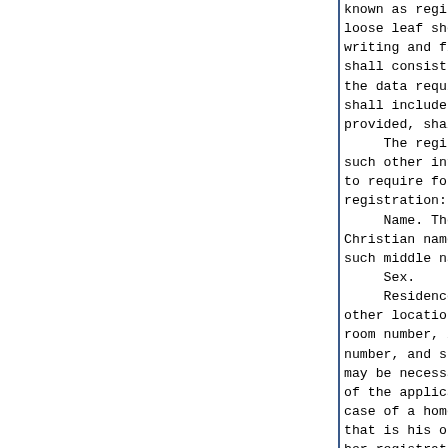known as registration record ca loose leaf sheets or cards, of su writing and figures the data he shall consist of computer cards the data required thereon. The r shall include an affidavit of provided, shall be executed in du     The registration record card such other information as the co to require for the identific registration:     Name. The name of the applica Christian name in full, and the such middle name, if any.     Sex.     Residence. The name and nu other location of the dwelling, i room number, if any, and in the number, and such additional cle may be necessary to determine the of the applicant, including post- case of a homeless individual, th that is his or her mailing addre her registration record card.     Term of residence in the Stat Which questions may be answered excess of 30 days in the State a precinct.     Nativity. The State or coun born.